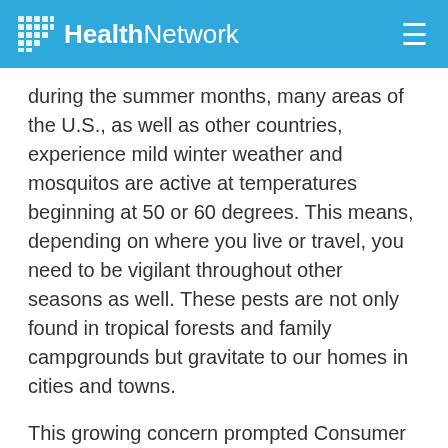HealthNetwork
during the summer months, many areas of the U.S., as well as other countries, experience mild winter weather and mosquitos are active at temperatures beginning at 50 or 60 degrees. This means, depending on where you live or travel, you need to be vigilant throughout other seasons as well. These pests are not only found in tropical forests and family campgrounds but gravitate to our homes in cities and towns.
This growing concern prompted Consumer Reports to conduct a test on popular repellents and release the results used to rate mosquito repellent